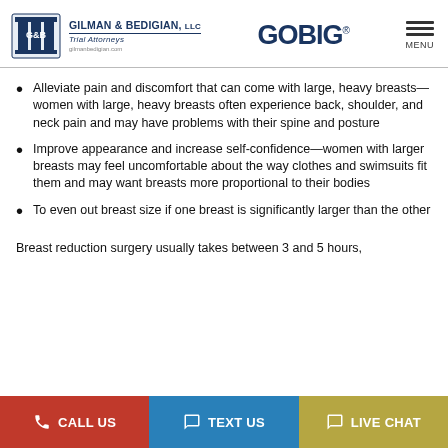GILMAN & BEDIGIAN, LLC Trial Attorneys | GOBIG | MENU
Alleviate pain and discomfort that can come with large, heavy breasts—women with large, heavy breasts often experience back, shoulder, and neck pain and may have problems with their spine and posture
Improve appearance and increase self-confidence—women with larger breasts may feel uncomfortable about the way clothes and swimsuits fit them and may want breasts more proportional to their bodies
To even out breast size if one breast is significantly larger than the other
Breast reduction surgery usually takes between 3 and 5 hours,
CALL US | TEXT US | LIVE CHAT